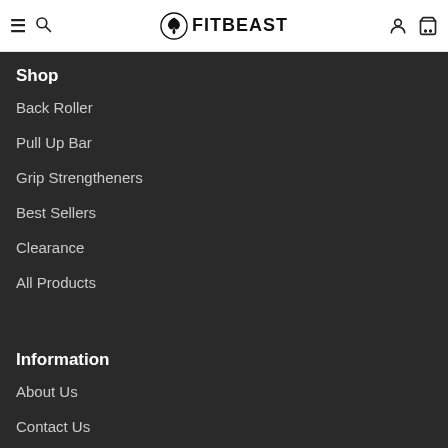FITBEAST — navigation header with hamburger menu, search, logo, account, and cart icons
Shop
Back Roller
Pull Up Bar
Grip Strengtheners
Best Sellers
Clearance
All Products
Information
About Us
Contact Us